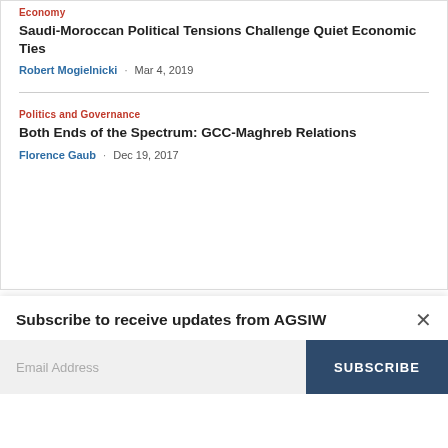Economy
Saudi-Moroccan Political Tensions Challenge Quiet Economic Ties
Robert Mogielnicki · Mar 4, 2019
Politics and Governance
Both Ends of the Spectrum: GCC-Maghreb Relations
Florence Gaub · Dec 19, 2017
Anna L. Jacobs is the senior Gulf analyst at International Crisis Group and a non-resident fellow at the Arab Gulf States Institute in Washington.
Subscribe to receive updates from AGSIW
Email Address
SUBSCRIBE